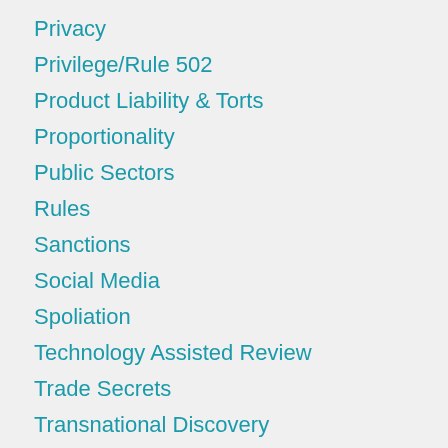Privacy
Privilege/Rule 502
Product Liability & Torts
Proportionality
Public Sectors
Rules
Sanctions
Social Media
Spoliation
Technology Assisted Review
Trade Secrets
Transnational Discovery